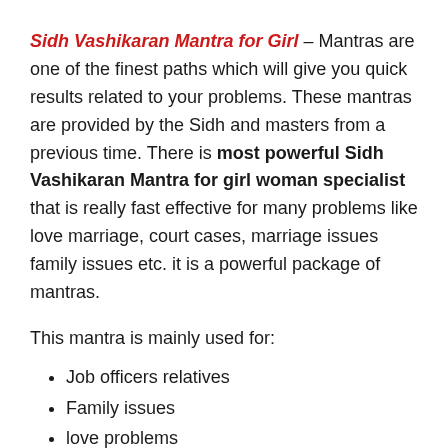Sidh Vashikaran Mantra for Girl – Mantras are one of the finest paths which will give you quick results related to your problems. These mantras are provided by the Sidh and masters from a previous time. There is most powerful Sidh Vashikaran Mantra for girl woman specialist that is really fast effective for many problems like love marriage, court cases, marriage issues family issues etc. it is a powerful package of mantras.
This mantra is mainly used for:
Job officers relatives
Family issues
love problems
marriage issues
court gear